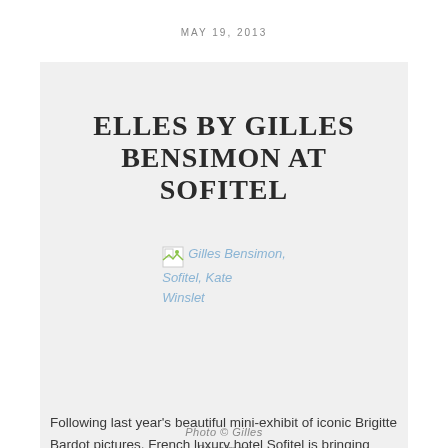MAY 19, 2013
ELLES BY GILLES BENSIMON AT SOFITEL
[Figure (photo): Broken image placeholder with alt text: Gilles Bensimon, Sofitel, Kate Winslet]
Photo © Gilles Bensimon
Following last year's beautiful mini-exhibit of iconic Brigitte Bardot pictures, French luxury hotel Sofitel is bringing glamour and elegance back to the District with Elles by Gilles Bensimon. On display through mid-June are stunning black and white